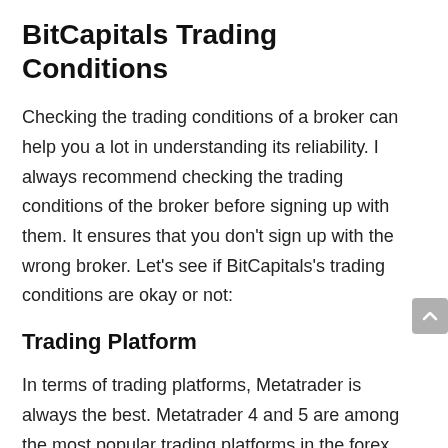BitCapitals Trading Conditions
Checking the trading conditions of a broker can help you a lot in understanding its reliability. I always recommend checking the trading conditions of the broker before signing up with them. It ensures that you don’t sign up with the wrong broker. Let’s see if BitCapitals’s trading conditions are okay or not:
Trading Platform
In terms of trading platforms, Metatrader is always the best. Metatrader 4 and 5 are among the most popular trading platforms in the forex industry because of the vast amount of benefits they offer. MT4 provides you with real-time and historical data, interactive charts, as well as,